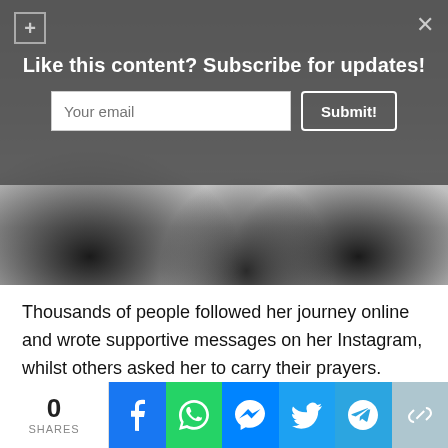[Figure (screenshot): Black and white photo of wheelchair wheels on a sidewalk, partially obscured by a subscribe overlay banner. The overlay shows a plus icon, close X, text 'Like this content? Subscribe for updates!', an email input field, and a Submit button.]
Thousands of people followed her journey online and wrote supportive messages on her Instagram, whilst others asked her to carry their prayers.
In response, she thanked them.
“A special special special thanks to each
[Figure (infographic): Social share bar at the bottom showing 0 SHARES count, and share buttons for Facebook, WhatsApp, Messenger, Twitter, Telegram, and copy link.]